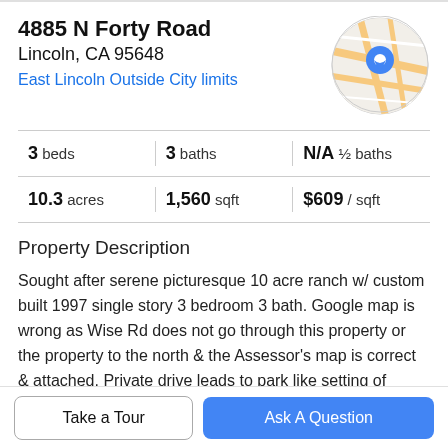4885 N Forty Road
Lincoln, CA 95648
East Lincoln Outside City limits
[Figure (map): Circular map thumbnail showing street map with blue location pin marker]
| beds | baths | ½ baths |
| --- | --- | --- |
| 3 beds | 3 baths | N/A ½ baths |
| 10.3 acres | 1,560 sqft | $609 / sqft |
Property Description
Sought after serene picturesque 10 acre ranch w/ custom built 1997 single story 3 bedroom 3 bath. Google map is wrong as Wise Rd does not go through this property or the property to the north & the Assessor's map is correct & attached. Private drive leads to park like setting of mature